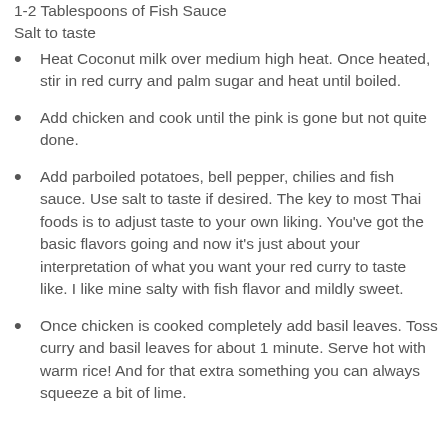1-2 Tablespoons of Fish Sauce
Salt to taste
Heat Coconut milk over medium high heat. Once heated, stir in red curry and palm sugar and heat until boiled.
Add chicken and cook until the pink is gone but not quite done.
Add parboiled potatoes, bell pepper, chilies and fish sauce. Use salt to taste if desired. The key to most Thai foods is to adjust taste to your own liking. You've got the basic flavors going and now it's just about your interpretation of what you want your red curry to taste like. I like mine salty with fish flavor and mildly sweet.
Once chicken is cooked completely add basil leaves. Toss curry and basil leaves for about 1 minute. Serve hot with warm rice! And for that extra something you can always squeeze a bit of lime.